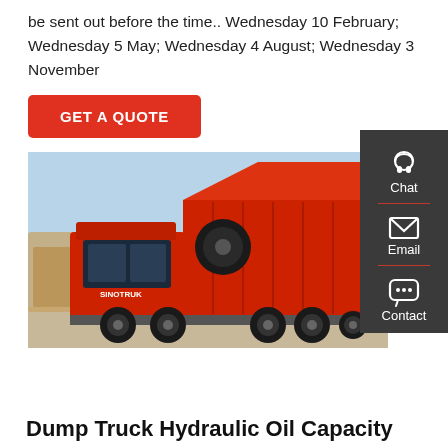be sent out before the time.. Wednesday 10 February; Wednesday 5 May; Wednesday 4 August; Wednesday 3 November
GET A QUOTE
[Figure (photo): A red heavy-duty dump truck with its bed raised, photographed outdoors. Other construction vehicles are visible in the background.]
Chat
Email
Contact
Dump Truck Hydraulic Oil Capacity